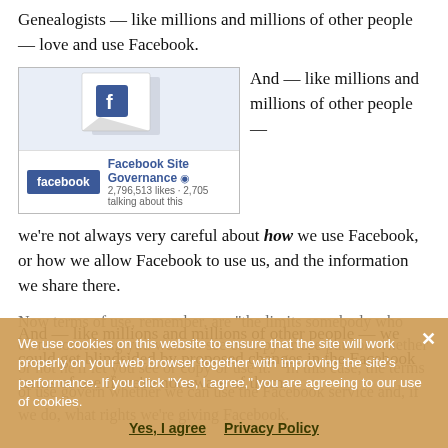Genealogists — like millions and millions of other people — love and use Facebook.
[Figure (screenshot): Screenshot of Facebook Site Governance page showing the Facebook logo, page name, verified checkmark, 2,796,513 likes and 2,705 talking about this.]
And — like millions and millions of other people — we're not always very careful about how we use Facebook, or how we allow Facebook to use us, and the information we share there.
And — like millions and millions of other people — we could get blindsided by proposed changes in the Facebook terms of use if we're not aware of them.
Now terms of use, remember, are "the limits somebody who owns something you want to see or copy or use puts on whether or not he'll let you see or copy or use it." In this case, the terms of use govern whether we can use the Facebook service and, if we do, what rights we're giving Facebook.
We use cookies on this website to ensure that the site will work properly on your web browser together with improving the site's performance. If you click "Yes, I agree," you are agreeing to our use of cookies.
Yes, I agree   Privacy Policy